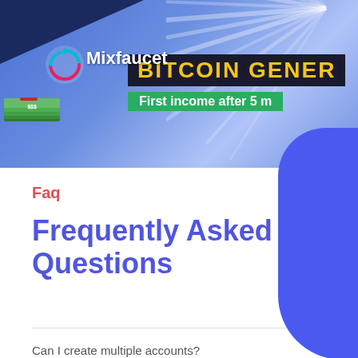[Figure (screenshot): Mixfaucet Bitcoin Generator banner with logo, sunburst background, and 'First income after 5 m...' tagline]
Faq
Frequently Asked Questions
Can I create multiple accounts?